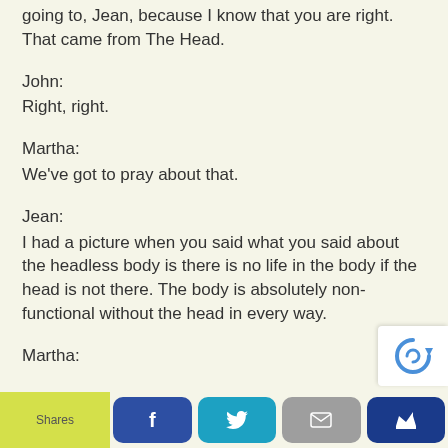going to, Jean, because I know that you are right. That came from The Head.
John:
Right, right.
Martha:
We've got to pray about that.
Jean:
I had a picture when you said what you said about the headless body is there is no life in the body if the head is not there. The body is absolutely non-functional without the head in every way.
Martha:
[Figure (screenshot): reCAPTCHA badge in bottom right corner]
Shares | Facebook | Twitter | Email | Crown